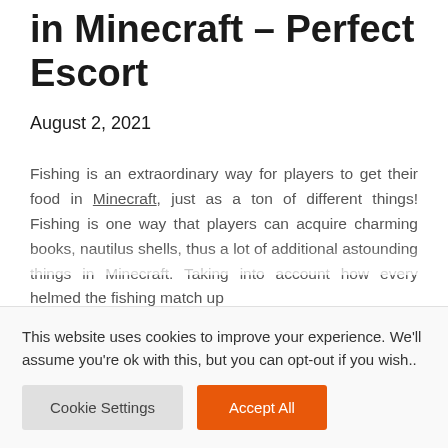in Minecraft – Perfect Escort
August 2, 2021
Fishing is an extraordinary way for players to get their food in Minecraft, just as a ton of different things! Fishing is one way that players can acquire charming books, nautilus shells, thus a lot of additional astounding things in Minecraft. Taking into account how every helmed the fishing match up
This website uses cookies to improve your experience. We'll assume you're ok with this, but you can opt-out if you wish..
Cookie Settings
Accept All